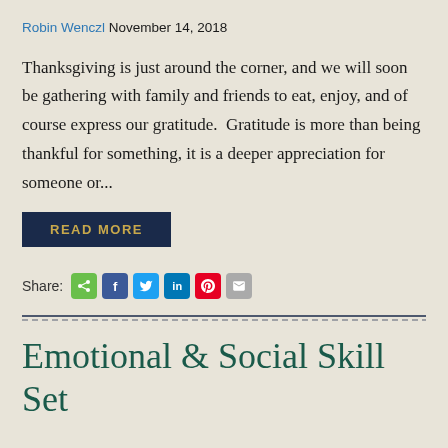Robin Wenczl November 14, 2018
Thanksgiving is just around the corner, and we will soon be gathering with family and friends to eat, enjoy, and of course express our gratitude.  Gratitude is more than being thankful for something, it is a deeper appreciation for someone or...
READ MORE
Share:
Emotional & Social Skill Set